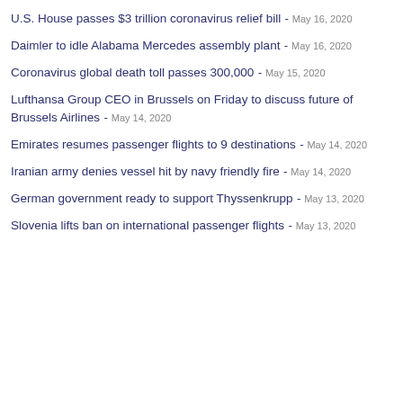U.S. House passes $3 trillion coronavirus relief bill - May 16, 2020
Daimler to idle Alabama Mercedes assembly plant - May 16, 2020
Coronavirus global death toll passes 300,000 - May 15, 2020
Lufthansa Group CEO in Brussels on Friday to discuss future of Brussels Airlines - May 14, 2020
Emirates resumes passenger flights to 9 destinations - May 14, 2020
Iranian army denies vessel hit by navy friendly fire - May 14, 2020
German government ready to support Thyssenkrupp - May 13, 2020
Slovenia lifts ban on international passenger flights - May 13, 2020